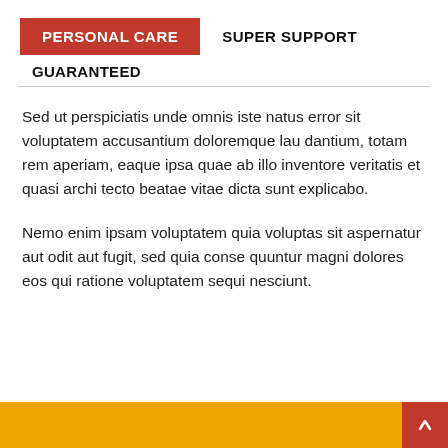PERSONAL CARE   SUPER SUPPORT
GUARANTEED
Sed ut perspiciatis unde omnis iste natus error sit voluptatem accusantium doloremque lau dantium, totam rem aperiam, eaque ipsa quae ab illo inventore veritatis et quasi archi tecto beatae vitae dicta sunt explicabo.
Nemo enim ipsam voluptatem quia voluptas sit aspernatur aut odit aut fugit, sed quia conse quuntur magni dolores eos qui ratione voluptatem sequi nesciunt.